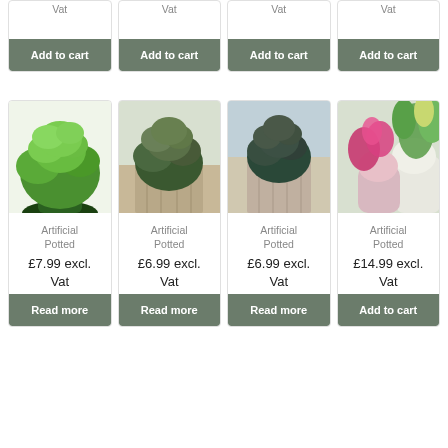Vat
Vat
Vat
Vat
Add to cart
Add to cart
Add to cart
Add to cart
[Figure (photo): Artificial potted plant with green leaves in a dark green pot]
[Figure (photo): Artificial potted plant in a wooden square planter on a windowsill]
[Figure (photo): Artificial potted plant with dark leaves in a wooden square box on a windowsill]
[Figure (photo): Colorful artificial potted plants with pink flowers and green foliage in white pots]
Artificial Potted
Artificial Potted
Artificial Potted
Artificial Potted
£7.99 excl. Vat
£6.99 excl. Vat
£6.99 excl. Vat
£14.99 excl. Vat
Read more
Read more
Read more
Add to cart